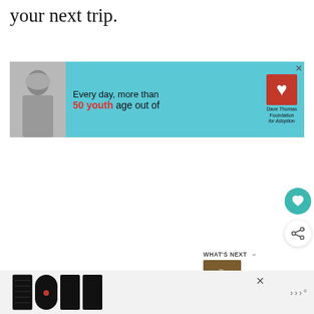your next trip.
[Figure (infographic): Advertisement banner with teal background. Black and white photo of a person on left. Text reads: 'Every day, more than 50 youth age out of'. Dave Thomas Foundation for Adoption logo on right. Close X button.]
[Figure (other): Teal circular heart/favorite button icon]
[Figure (other): White circular share button with share icon]
[Figure (other): WHAT'S NEXT arrow label with thumbnail image and text '29+ Tinfoil Packet...']
[Figure (other): Bottom advertisement with decorative LOVE text logo in black and white illustration style, close X button, and brand logo on right]